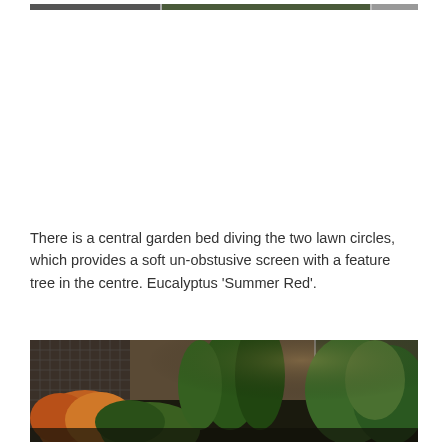[Figure (photo): Partial view of a garden/outdoor scene, cropped at top of page]
There is a central garden bed diving the two lawn circles, which provides a soft un-obstusive screen with a feature tree in the centre. Eucalyptus 'Summer Red'.
[Figure (photo): Garden scene showing lush green plants and shrubs against a dark fence/wall, with a reddish-orange leafed plant in the foreground left]